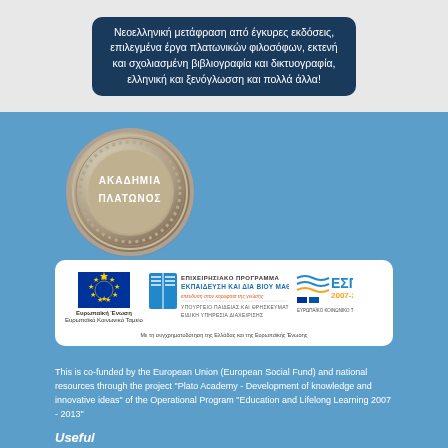Νεοελληνική μετάφραση από έγκυρες εκδόσεις, επιλεγμένα έργα πλατωνικών φιλοσόφων, εκτενή και σχολιασμένη βιβλιογραφία και δικτυογραφία, ελληνική και ξενόγλωσση και πολλά άλλα!
[Figure (logo): Akademia Platonos silver medal/seal with Greek text ΑΚΑΔΗΜΙΑ ΠΛΑΤΩΝΟΣ]
[Figure (logo): EU funding logos: European Union / European Social Fund, ΕΠΙΧΕΙΡΗΣΙΑΚΟ ΠΡΟΓΡΑΜΜΑ ΕΚΠΑΙΔΕΥΣΗ ΚΑΙ ΔΙΑ ΒΙΟΥ ΜΑΘΗΣΗ, ΥΠΟΥΡΓΕΙΟ ΠΑΙΔΕΙΑΣ ΚΑΙ ΘΡΗΣΚΕΥΜΑΤΩΝ ΕΙΔΙΚΗ ΥΠΗΡΕΣΙΑ ΔΙΑΧΕΙΡΙΣΗΣ, ΕΣΠΑ 2007-2013]
This is co-funded by the European Union (European Social Fund) and national resources through the project "Plato Academy - Development of knowledge and innovative ideas" of the Operational Program "Education and Lifelong Learning 2007 - 2013"
Useful